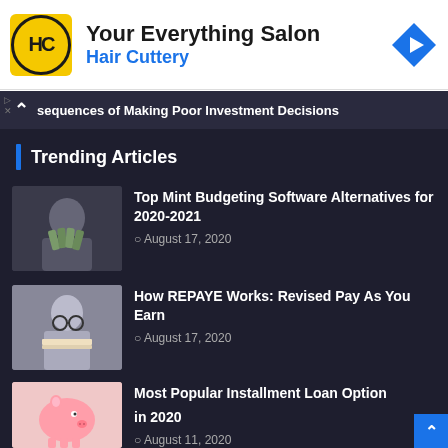[Figure (screenshot): Hair Cuttery advertisement banner: logo with HC monogram on yellow circle, tagline 'Your Everything Salon' and 'Hair Cuttery' in blue, blue navigation arrow icon on right]
sequences of Making Poor Investment Decisions
Trending Articles
Top Mint Budgeting Software Alternatives for 2020-2021 — August 17, 2020
How REPAYE Works: Revised Pay As You Earn — August 17, 2020
Most Popular Installment Loan Options in 2020 — August 11, 2020